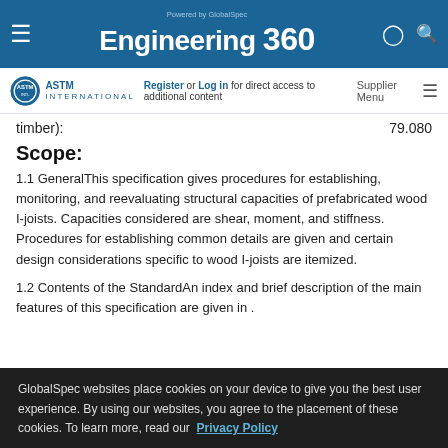Powered by GlobalSpec Engineering 360
Register or Log in for direct access to additional content  Supplier Menu
timber):  79.080
Scope:
1.1 GeneralThis specification gives procedures for establishing, monitoring, and reevaluating structural capacities of prefabricated wood I-joists. Capacities considered are shear, moment, and stiffness. Procedures for establishing common details are given and certain design considerations specific to wood I-joists are itemized.
1.2 Contents of the StandardAn index and brief description of the main features of this specification are given in .
GlobalSpec websites place cookies on your device to give you the best user experience. By using our websites, you agree to the placement of these cookies. To learn more, read our Privacy Policy